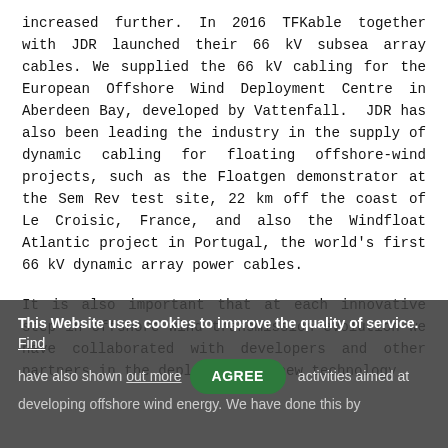increased further. In 2016 TFKable together with JDR launched their 66 kV subsea array cables. We supplied the 66 kV cabling for the European Offshore Wind Deployment Centre in Aberdeen Bay, developed by Vattenfall. JDR has also been leading the industry in the supply of dynamic cabling for floating offshore-wind projects, such as the Floatgen demonstrator at the Sem Rev test site, 22 km off the coast of Le Croisic, France, and also the Windfloat Atlantic project in Portugal, the world's first 66 kV dynamic array power cables.
It is also important that at each innovative step in offshore wind transmission evolution we have collaborated with developers and other partners in the deployment of new technology.
This Website uses cookies to improve the quality of service. Find out more [AGREE button] activities aimed at developing offshore wind energy. We have done this by